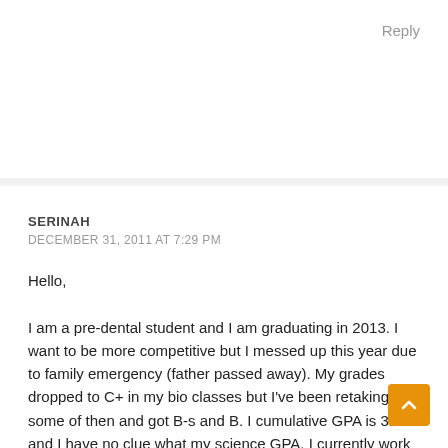Reply
SERINAH
DECEMBER 31, 2011 AT 7:29 PM
Hello,

I am a pre-dental student and I am graduating in 2013. I want to be more competitive but I messed up this year due to family emergency (father passed away). My grades dropped to C+ in my bio classes but I've been retaking some of then and got B-s and B. I cumulative GPA is 3.02 and I have no clue what my science GPA. I currently work for a dentist as an hygienist and I am x-